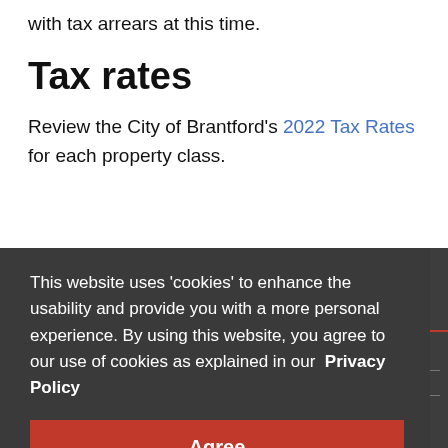with tax arrears at this time.
Tax rates
Review the City of Brantford's 2022 Tax Rates for each property class.
This website uses 'cookies' to enhance the usability and provide you with a more personal experience. By using this website, you agree to our use of cookies as explained in our Privacy Policy
Agree
Contact Us
Property Tax Office
City of Brantford
58 Dalhousie Street, Brantford, Ontario N3T 2J2